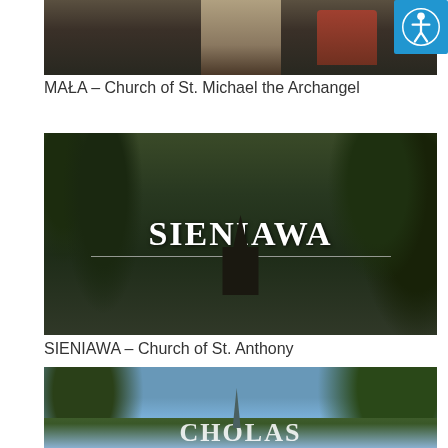[Figure (photo): Partial view of a historic building or estate gate with red iron decorative elements and stone walls, dark and overgrown.]
[Figure (illustration): Accessibility icon — white person in circle on blue background, top-right corner button.]
MAŁA – Church of St. Michael the Archangel
[Figure (photo): Wooden church surrounded by tall green trees, dark timber construction with multi-tiered roof and small tower. Large overlay text reads SIENIAWA with a thin horizontal rule beneath it.]
SIENIAWA – Church of St. Anthony
[Figure (photo): Partial photo of a church with a slim spire rising above lush green trees against a blue sky, bottom text partially visible reading CHOLAS or similar.]